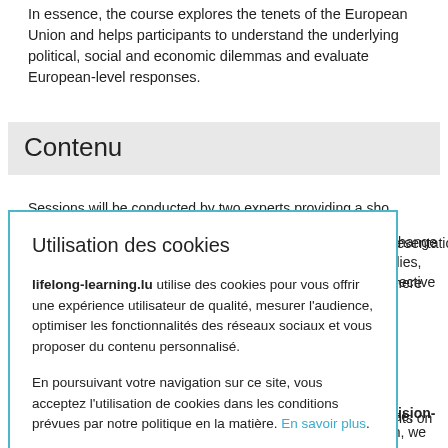In essence, the course explores the tenets of the European Union and helps participants to understand the underlying political, social and economic dilemmas and evaluate European-level responses.
Contenu
Sessions will be conducted by two experts providing a short presentation ... exchange of ... udies, where ... spective
[Figure (screenshot): Cookie consent modal dialog with title 'Utilisation des cookies', text explaining lifelong-learning.lu cookie usage in French, two buttons: 'Paramétrer les cookies' (grey) and 'Accepter tout' (blue), bordered with teal/cyan border.]
and decision-
ourse, nion, we suggest atic discussion of the EU. You ean Union and nding principles ection of
f fundamental rights. The first module will also provide insights on the EU...